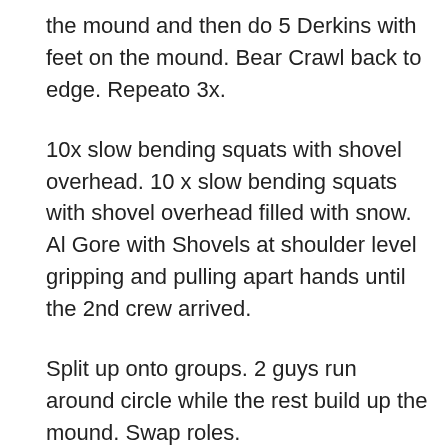the mound and then do 5 Derkins with feet on the mound.  Bear Crawl back to edge.  Repeato 3x.
10x slow bending squats with shovel overhead.  10 x slow bending squats with shovel overhead filled with snow.  Al Gore with Shovels at shoulder level gripping and pulling apart hands until the 2nd crew arrived.
Split up onto groups.  2 guys run around circle while the rest build up the mound. Swap roles.
Mosey with shovels to the area west of the carillon for Touch a Tree.  Touch 3 trees, then 5, then 10 trees each time returning to starting position and planking.
Mosey to pullup bars and plant shovels.  Navigate the